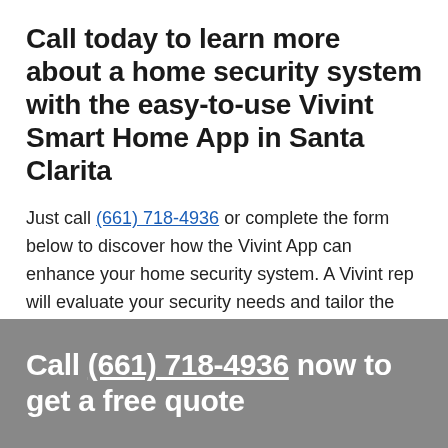Call today to learn more about a home security system with the easy-to-use Vivint Smart Home App in Santa Clarita
Just call (661) 718-4936 or complete the form below to discover how the Vivint App can enhance your home security system. A Vivint rep will evaluate your security needs and tailor the perfect system for you. For your free quote, call today!
Call (661) 718-4936 now to get a free quote